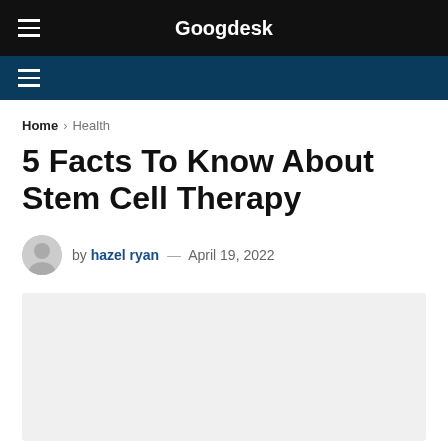Googdesk
Home > Health
5 Facts To Know About Stem Cell Therapy
by hazel ryan — April 19, 2022
[Figure (photo): Light gray placeholder image for article about stem cell therapy]